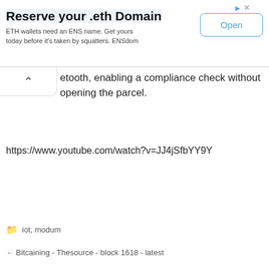[Figure (infographic): Advertisement banner: 'Reserve your .eth Domain' with Open button. ETH wallets need an ENS name. Get yours today before it's taken by squatters. ENSdom]
etooth, enabling a compliance check without opening the parcel.
https://www.youtube.com/watch?v=JJ4jSfbYY9Y
iot, modum
Bitcaining - Thesource - block 1618 - latest